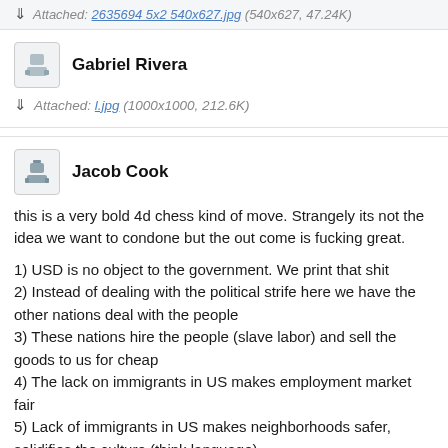Attached: 2635694 5x2 540x627.jpg (540x627, 47.24K)
Gabriel Rivera
Attached: l.jpg (1000x1000, 212.6K)
Jacob Cook
this is a very bold 4d chess kind of move. Strangely its not the idea we want to condone but the out come is fucking great.
1) USD is no object to the government. We print that shit
2) Instead of dealing with the political strife here we have the other nations deal with the people
3) These nations hire the people (slave labor) and sell the goods to us for cheap
4) The lack on immigrants in US makes employment market fair
5) Lack of immigrants in US makes neighborhoods safer, solidifies the culture (think language)